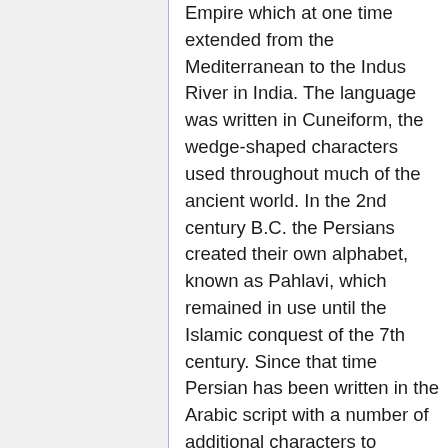Empire which at one time extended from the Mediterranean to the Indus River in India. The language was written in Cuneiform, the wedge-shaped characters used throughout much of the ancient world. In the 2nd century B.C. the Persians created their own alphabet, known as Pahlavi, which remained in use until the Islamic conquest of the 7th century. Since that time Persian has been written in the Arabic script with a number of additional characters to accommodate special sounds. Literary modern Farsi is virtually identical in Iran and Afghanistan, with very minor lexical differences. As far as dialects are concerned, one of them shades into Dari in Afghanistan, another into Tajik in Tajikistan. English words of Persian origin include shawl, pajama, taffeta, khaki, kiosk, divan, lilac, jasmine, julep,